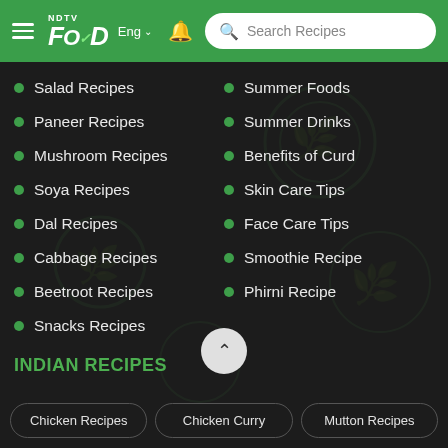NDTV Food — Eng | Search Recipes
Salad Recipes
Summer Foods
Paneer Recipes
Summer Drinks
Mushroom Recipes
Benefits of Curd
Soya Recipes
Skin Care Tips
Dal Recipes
Face Care Tips
Cabbage Recipes
Smoothie Recipe
Beetroot Recipes
Phirni Recipe
Snacks Recipes
INDIAN RECIPES
Chicken Recipes
Chicken Curry
Mutton Recipes